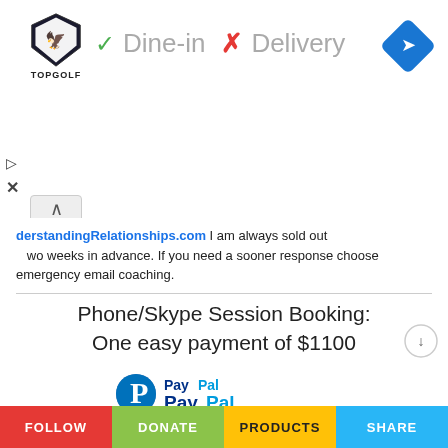[Figure (screenshot): Topgolf advertisement banner with Dine-in checkmark and Delivery X mark, navigation diamond icon]
derstandingRelationships.com I am always sold out two weeks in advance. If you need a sooner response choose emergency email coaching.
Phone/Skype Session Booking: One easy payment of $1100
[Figure (logo): PayPal Buy Now button with payment method icons (PayPal, MasterCard, VISA, American Express, Discover)]
"A single conversation across the table with a wise man is worth a month's study of books." – Chinese Proverbs
FOLLOW   DONATE   PRODUCTS   SHARE